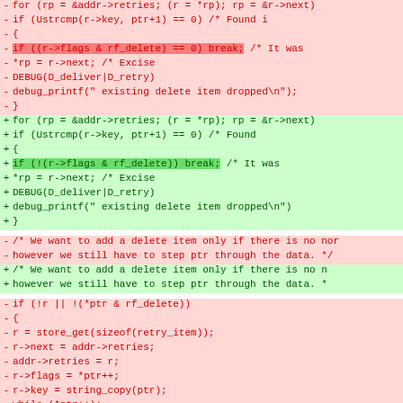[Figure (screenshot): A code diff view showing removed (red) and added (green) lines of C code. Removed lines show a for loop with `if ((r->flags & rf_delete) == 0) break;` highlighted in red. Added lines show the same for loop with `if (!(r->flags & rf_delete)) break;` highlighted in green. Below are comment lines about adding a delete item, and further below are more removed lines with C code including store_get, r->next, addr->retries, r->flags, r->key, while, memcpy, and ptr+= sizeof lines.]